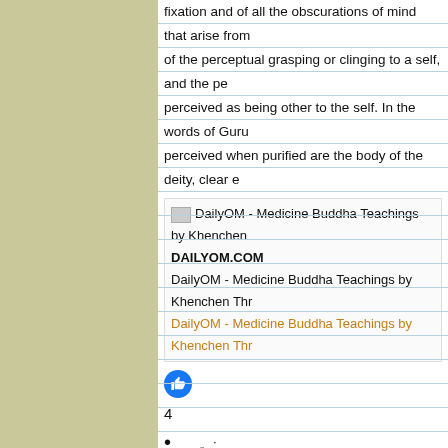fixation and of all the obscurations of mind that arise from of the perceptual grasping or clinging to a self, and the pe perceived as being other to the self. In the words of Guru perceived when purified are the body of the deity, clear e
[Figure (screenshot): Link preview card for DailyOM - Medicine Buddha Teachings by Khenchen Thr]
DAILYOM.COM
DailyOM - Medicine Buddha Teachings by Khenchen Thr
DailyOM - Medicine Buddha Teachings by Khenchen Thr
[Figure (illustration): Blue thumbs up like button icon]
4
·
Reply
·
Remove Preview
· 17w
·
Edited
Soh Wei Yu
Admin
[Figure (illustration): User avatar icon with coffee cup emoji]